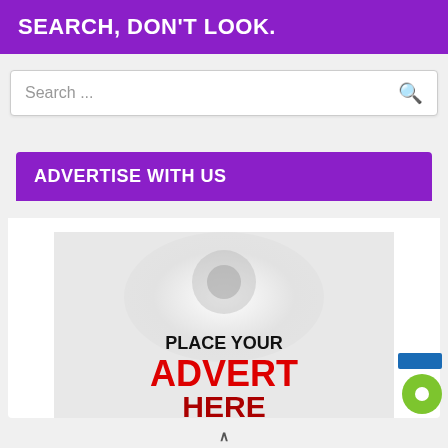SEARCH, DON'T LOOK.
Search ...
ADVERTISE WITH US
[Figure (infographic): Advertise with us banner showing 'PLACE YOUR ADVERT HERE' text with a light bulb icon on a grey background]